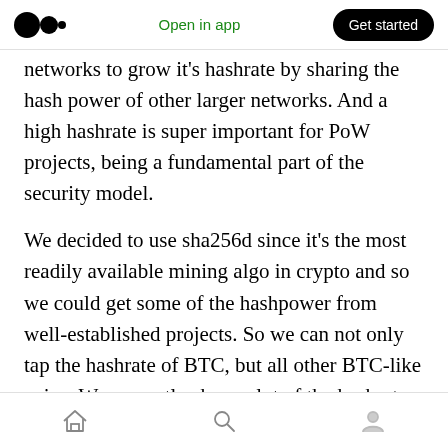Open in app | Get started
networks to grow it’s hashrate by sharing the hash power of other larger networks. And a high hashrate is super important for PoW projects, being a fundamental part of the security model.
We decided to use sha256d since it’s the most readily available mining algo in crypto and so we could get some of the hashpower from well-established projects. So we can not only tap the hashrate of BTC, but all other BTC-like coins. We currently share a lot of the hashrate of BCH and BSV.
Home | Search | Profile